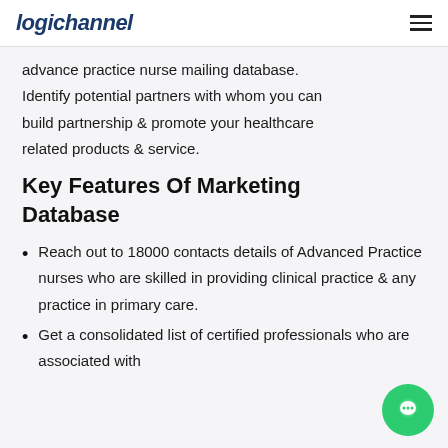logichannel
advance practice nurse mailing database. Identify potential partners with whom you can build partnership & promote your healthcare related products & service.
Key Features Of Marketing Database
Reach out to 18000 contacts details of Advanced Practice nurses who are skilled in providing clinical practice & any practice in primary care.
Get a consolidated list of certified professionals who are associated with